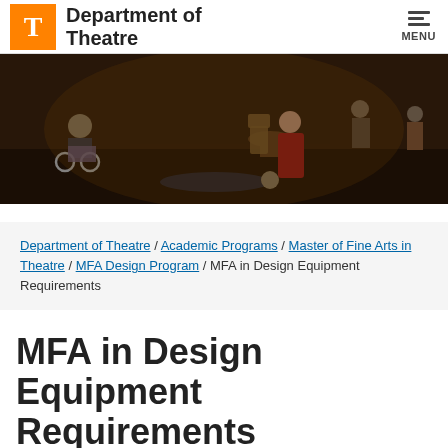Department of Theatre  MENU
[Figure (photo): Theatre stage performance scene with actors in period costumes. A man in military uniform sits in a wheelchair on the left; a woman in a red gown kneels on the floor; another person lies on stage floor center; additional actors are visible in the background on a richly decorated Victorian-era set.]
Department of Theatre / Academic Programs / Master of Fine Arts in Theatre / MFA Design Program / MFA in Design Equipment Requirements
MFA in Design Equipment Requirements